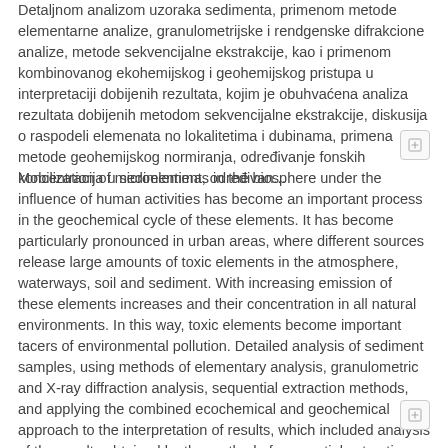Detaljnom analizom uzoraka sedimenta, primenom metode elementarne analize, granulometrijske i rendgenske difrakcione analize, metode sekvencijalne ekstrakcije, kao i primenom kombinovanog ekohemijskog i geohemijskog pristupa u interpretaciji dobijenih rezultata, kojim je obuhvaćena analiza rezultata dobijenih metodom sekvencijalne ekstrakcije, diskusija o raspodeli elemenata no lokalitetima i dubinama, primena metode geohemijskog normiranja, određivanje fonskih koncentracija u sedimentima, određivan...
Mobilization of microelements in the biosphere under the influence of human activities has become an important process in the geochemical cycle of these elements. It has become particularly pronounced in urban areas, where different sources release large amounts of toxic elements in the atmosphere, waterways, soil and sediment. With increasing emission of these elements increases and their concentration in all natural environments. In this way, toxic elements become important tacers of environmental pollution. Detailed analysis of sediment samples, using methods of elementary analysis, granulometric and X-ray diffraction analysis, sequential extraction methods, and applying the combined ecochemical and geochemical approach to the interpretation of results, which included analysis of the results obtained by the method of sequential extraction, discussion on the distribution of elements by localities and depths, the application of geochemical normalization, determination background conce...